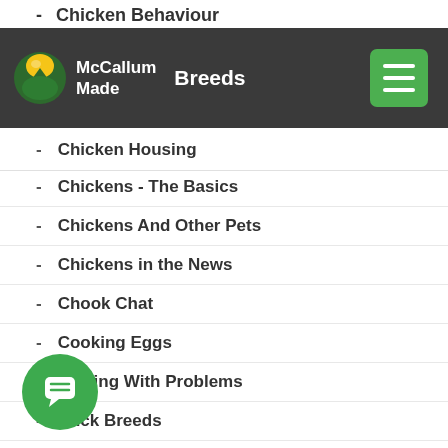McCallum Made — navigation bar with logo and hamburger menu
- Chicken Behaviour (partially visible at top)
Breeds (visible in nav bar)
- Chicken Housing
- Chickens - The Basics
- Chickens And Other Pets
- Chickens in the News
- Chook Chat
- Cooking Eggs
- Dealing With Problems
- Duck Breeds
- [F]arming Chickens (partially obscured by chat icon)
- [Hat]ching Eggs (partially obscured by chat icon)
- Incubation